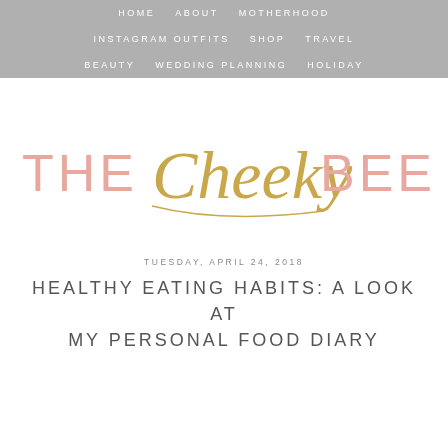HOME   ABOUT   MOTHERHOOD   INSTAGRAM OUTFITS   SHOP   TRAVEL   BEAUTY   WEDDING PLANNING   HOLIDAY
[Figure (logo): The Cheeky Been blog logo with 'THE' and 'BEEN' in pink sans-serif uppercase letters and 'Cheeky' in gold cursive script]
TUESDAY, APRIL 24, 2018
HEALTHY EATING HABITS: A LOOK AT MY PERSONAL FOOD DIARY